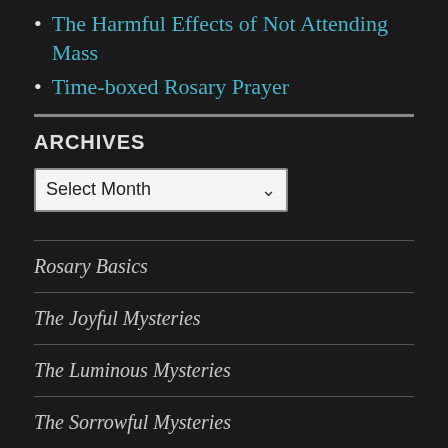The Harmful Effects of Not Attending Mass
Time-boxed Rosary Prayer
ARCHIVES
Select Month
Rosary Basics
The Joyful Mysteries
The Luminous Mysteries
The Sorrowful Mysteries